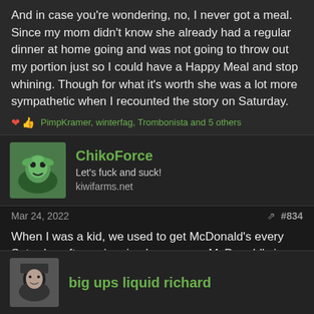And in case you're wondering, no, I never got a meal. Since my mom didn't know she already had a regular dinner at home going and was not going to throw out my portion just so I could have a Happy Meal and stop whining. Though for what it's worth she was a lot more sympathetic when I recounted the story on Saturday.
PimpKramer, winterfag, Trombonista and 5 others
ChikoForce
Let's fuck and suck!
kiwifarms.net
Mar 24, 2022
#834
When I was a kid, we used to get McDonald's every Saturday after swimming lessons, so McDonald's is a bit nostalgic for me. :')
XYZpdq, UnsufficentBoobage, Trilby and 1 other person
big ups liquid richard